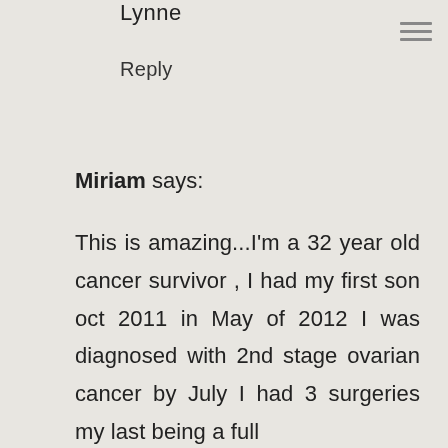Lynne
Reply
Miriam says:
This is amazing...I'm a 32 year old cancer survivor , I had my first son oct 2011 in May of 2012 I was diagnosed with 2nd stage ovarian cancer by July I had 3 surgeries my last being a full